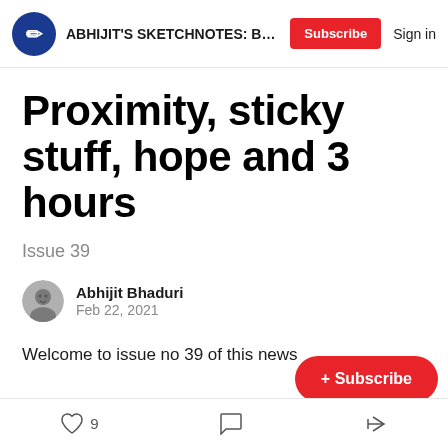ABHIJIT'S SKETCHNOTES: Becau...  Subscribe  Sign in
Proximity, sticky stuff, hope and 3 hours
Issue 39
Abhijit Bhaduri
Feb 22, 2021
Welcome to issue no 39 of this news
9  [comment]  [share]